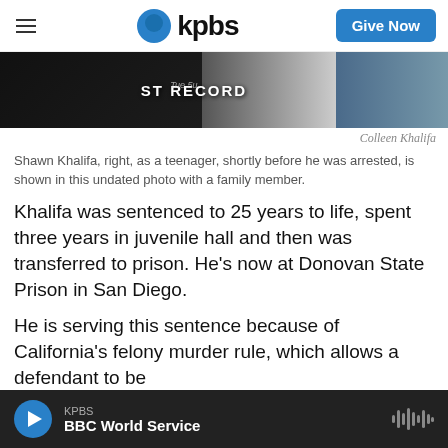kpbs | Give Now
[Figure (photo): Cropped photo showing two people, with text 'ST RECORD' visible on clothing. Dark background on left, lighter background on right.]
Colleen Khalifa
Shawn Khalifa, right, as a teenager, shortly before he was arrested, is shown in this undated photo with a family member.
Khalifa was sentenced to 25 years to life, spent three years in juvenile hall and then was transferred to prison. He's now at Donovan State Prison in San Diego.
He is serving this sentence because of California's felony murder rule, which allows a defendant to be
KPBS | BBC World Service